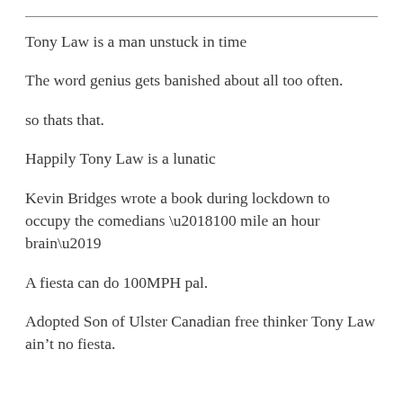Tony Law is a man unstuck in time
The word genius gets banished about all too often.
so thats that.
Happily Tony Law is a lunatic
Kevin Bridges wrote a book during lockdown to occupy the comedians ‘100 mile an hour brain’
A fiesta can do 100MPH pal.
Adopted Son of Ulster Canadian free thinker Tony Law ain’t no fiesta.